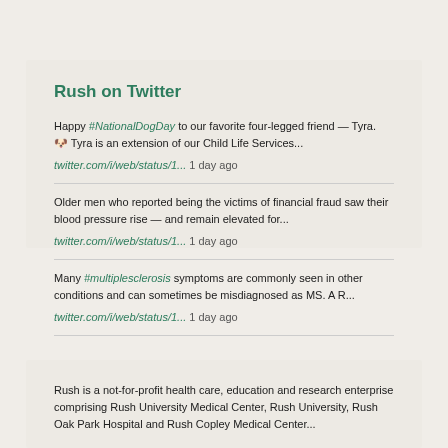Rush on Twitter
Happy #NationalDogDay to our favorite four-legged friend — Tyra. 🐶 Tyra is an extension of our Child Life Services...
twitter.com/i/web/status/1... 1 day ago
Older men who reported being the victims of financial fraud saw their blood pressure rise — and remain elevated for...
twitter.com/i/web/status/1... 1 day ago
Many #multiplesclerosis symptoms are commonly seen in other conditions and can sometimes be misdiagnosed as MS. A R...
twitter.com/i/web/status/1... 1 day ago
Rush is a not-for-profit health care, education and research enterprise comprising Rush University Medical Center, Rush University, Rush Oak Park Hospital and Rush Copley Medical Center...